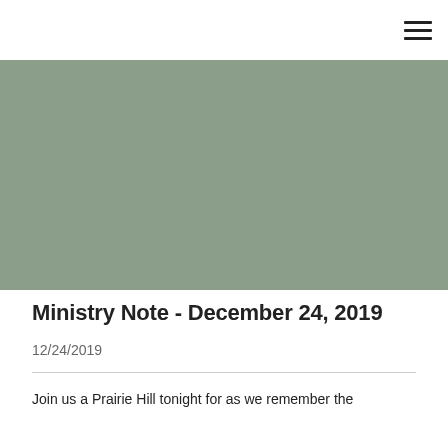[Figure (other): Navigation bar with hamburger menu icon in top right corner]
[Figure (photo): Large muted sage green/gray hero image banner]
Ministry Note - December 24, 2019
12/24/2019
Join us a Prairie Hill tonight for as we remember the